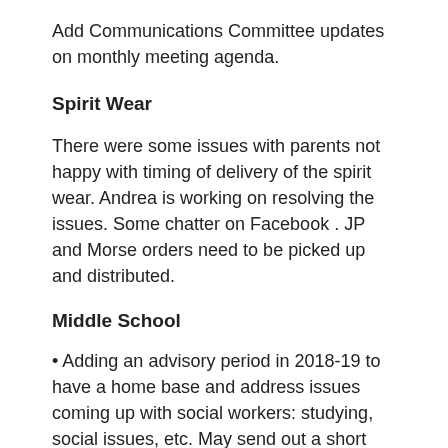Add Communications Committee updates on monthly meeting agenda.
Spirit Wear
There were some issues with parents not happy with timing of delivery of the spirit wear. Andrea is working on resolving the issues. Some chatter on Facebook . JP and Morse orders need to be picked up and distributed.
Middle School
• Adding an advisory period in 2018-19 to have a home base and address issues coming up with social workers: studying, social issues, etc. May send out a short survey to parents.